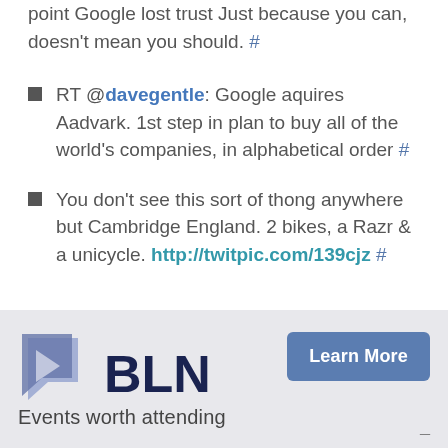point Google lost trust Just because you can, doesn't mean you should. #
RT @davegentle: Google aquires Aadvark. 1st step in plan to buy all of the world's companies, in alphabetical order #
You don't see this sort of thong anywhere but Cambridge England. 2 bikes, a Razr & a unicycle. http://twitpic.com/139cjz #
[Figure (logo): BLN logo with blue geometric arrow/speech bubble icon, text 'BLN' in dark navy, tagline 'Events worth attending', and a 'Learn More' blue button]